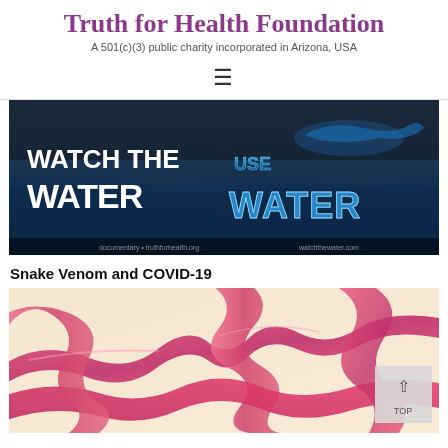Truth for Health Foundation
A 501(c)(3) public charity incorporated in Arizona, USA
[Figure (other): Navigation hamburger menu icon (three horizontal lines)]
[Figure (photo): Banner image for 'Watch the Water' documentary showing text 'WATCH THE WATER' on left in bold white letters over dark water background, and 'USE WATER' in blue glassy text on right with underwater imagery]
Snake Venom and COVID-19
[Figure (illustration): Close-up illustration of pink/magenta ribbon-like snake venom protein structures on a light peach/cream background]